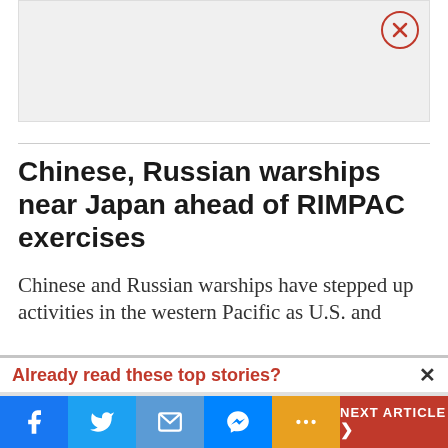[Figure (screenshot): Gray advertisement banner with a circular X/close button in the top right corner]
Chinese, Russian warships near Japan ahead of RIMPAC exercises
Chinese and Russian warships have stepped up activities in the western Pacific as U.S. and
Already read these top stories?
[Figure (photo): Thumbnail photo of military missile vehicles with red background, and partial photo of a person in white cap on the right]
Air Force sees 'incredibly' large missile buildup by China
NEXT ARTICLE >